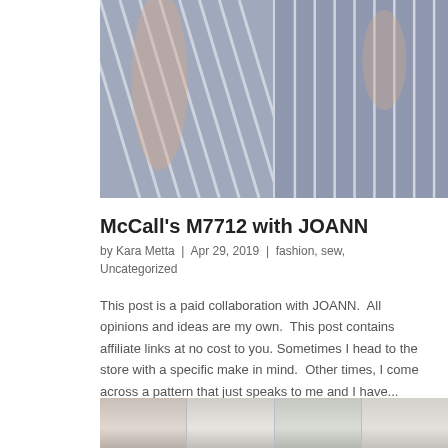[Figure (photo): Two photos side by side of a woman wearing a blue and white striped dress, shown from front and back views]
McCall's M7712 with JOANN
by Kara Metta | Apr 29, 2019 | fashion, sew, Uncategorized
This post is a paid collaboration with JOANN.  All opinions and ideas are my own.  This post contains affiliate links at no cost to you. Sometimes I head to the store with a specific make in mind.  Other times, I come across a pattern that just speaks to me and I have...
[Figure (photo): Five women shown from shoulders up, each wearing different accessories or headpieces, partial view at bottom of page]